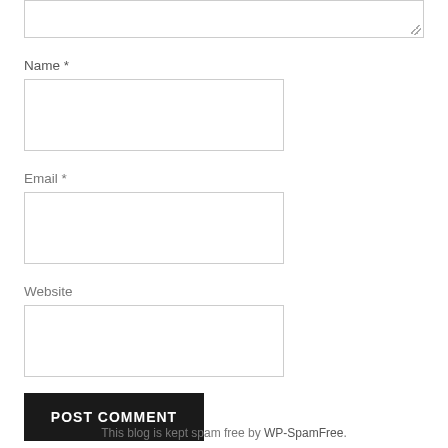Name *
Email *
Website
POST COMMENT
This blog is kept spam free by WP-SpamFree.